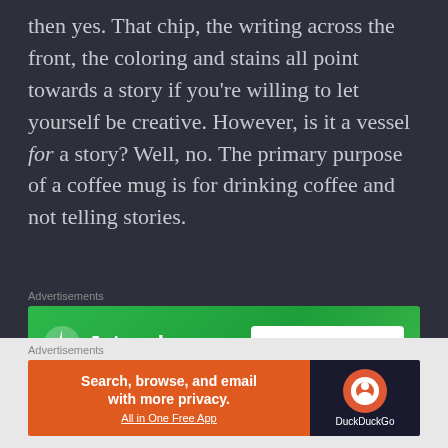then yes. That chip, the writing across the front, the coloring and stains all point towards a story if you're willing to let yourself be creative. However, is it a vessel for a story? Well, no. The primary purpose of a coffee mug is for drinking coffee and not telling stories.
Advertisements
[Figure (other): Jetpack advertisement banner with green background showing Jetpack logo and 'Back up your site' button]
This definition of a book is quite radical. It is asking a lot of a person to think of books in
Advertisements
[Figure (other): DuckDuckGo advertisement banner with orange left section reading 'Search, browse, and email with more privacy. All in One Free App' and dark right section with DuckDuckGo logo]